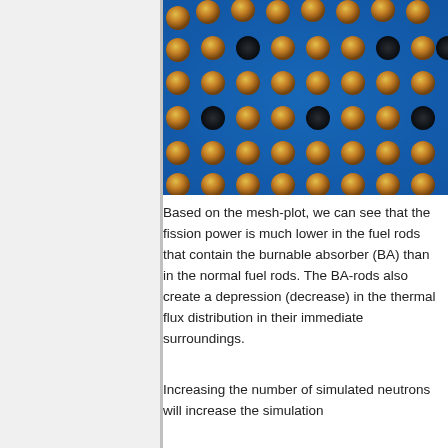[Figure (photo): Close-up photograph of a nuclear fuel rod assembly cross-section viewed from above, showing a grid of orange/gold circular fuel pellets on a blue background, with some dark black circular spots interspersed representing burnable absorber (BA) rods.]
Based on the mesh-plot, we can see that the fission power is much lower in the fuel rods that contain the burnable absorber (BA) than in the normal fuel rods. The BA-rods also create a depression (decrease) in the thermal flux distribution in their immediate surroundings.
Increasing the number of simulated neutrons will increase the simulation